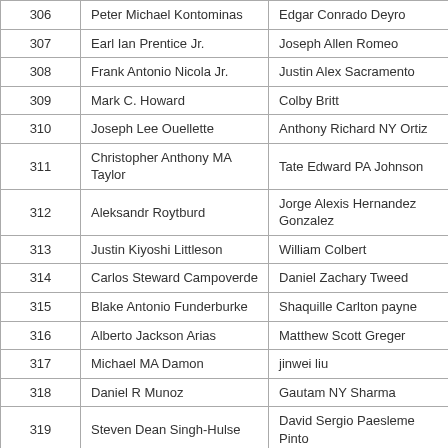| 306 | Peter Michael Kontominas | Edgar Conrado Deyro |
| 307 | Earl Ian Prentice Jr. | Joseph Allen Romeo |
| 308 | Frank Antonio Nicola Jr. | Justin Alex Sacramento |
| 309 | Mark C. Howard | Colby Britt |
| 310 | Joseph Lee Ouellette | Anthony Richard NY Ortiz |
| 311 | Christopher Anthony MA Taylor | Tate Edward PA Johnson |
| 312 | Aleksandr Roytburd | Jorge Alexis Hernandez Gonzalez |
| 313 | Justin Kiyoshi Littleson | William Colbert |
| 314 | Carlos Steward Campoverde | Daniel Zachary Tweed |
| 315 | Blake Antonio Funderburke | Shaquille Carlton payne |
| 316 | Alberto Jackson Arias | Matthew Scott Greger |
| 317 | Michael MA Damon | jinwei liu |
| 318 | Daniel R Munoz | Gautam NY Sharma |
| 319 | Steven Dean Singh-Hulse | David Sergio Paesleme Pinto |
| 320 | Nicholas Robert Binner | Timothy Emmanuelle Robbins |
| 321 | Joseph Shaquille Kelley | Lester Dillion Moon |
| 322 | Andrew James Squitieri | Xiwei Wang |